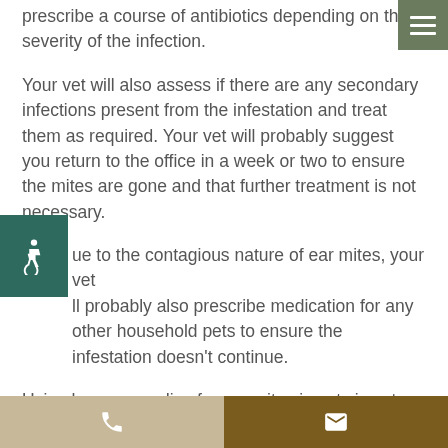prescribe a course of antibiotics depending on the severity of the infection.
Your vet will also assess if there are any secondary infections present from the infestation and treat them as required. Your vet will probably suggest you return to the office in a week or two to ensure the mites are gone and that further treatment is not necessary.
Due to the contagious nature of ear mites, your vet will probably also prescribe medication for any other household pets to ensure the infestation doesn't continue.
Using home remedies for ear mites in cats is not advisable. While there are some methods that can kill mites, many at-home treatments do not kill the eggs of the mites. So it while it may appear that the
phone | email